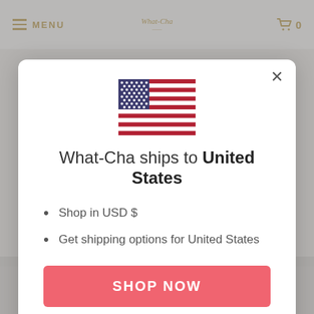≡ MENU | What-Cha logo | 🛒 0
[Figure (screenshot): US flag icon centered at top of modal]
What-Cha ships to United States
Shop in USD $
Get shipping options for United States
SHOP NOW
CHANGE SHIPPING COUNTRY